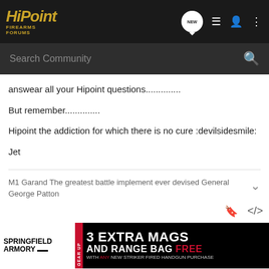HiPoint Firearms Forums
answear all your Hipoint questions..............
But remember..............
Hipoint the addiction for which there is no cure :devilsidesmile:
Jet
M1 Garand The greatest battle implement ever devised General George Patton
[Figure (screenshot): Springfield Armory advertisement: 3 Extra Mags and Range Bag Free with any new striker fired handgun purchase]